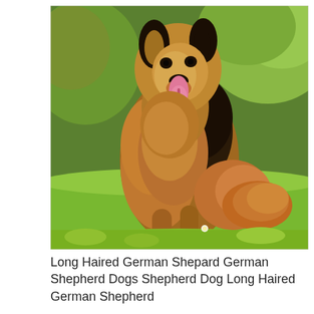[Figure (photo): A long-haired German Shepherd dog sitting on green grass outdoors, with tongue out, thick brown and black fur, with green leafy bushes in the background.]
Long Haired German Shepard German Shepherd Dogs Shepherd Dog Long Haired German Shepherd